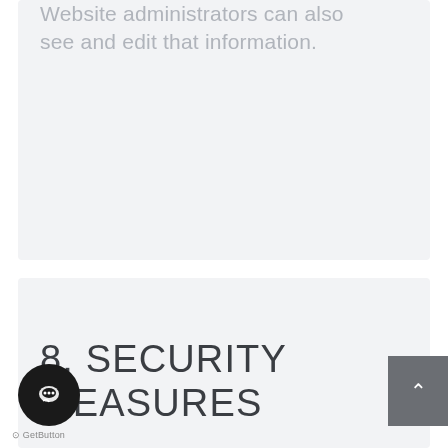Website administrators can also see and edit that information.
8. SECURITY MEASURES
We use the SSL/HTTPS protocol throughout our site. This encrypts our user communications with the servers so that personal identifiable